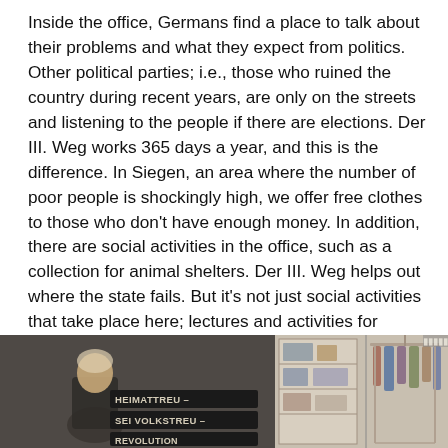Inside the office, Germans find a place to talk about their problems and what they expect from politics. Other political parties; i.e., those who ruined the country during recent years, are only on the streets and listening to the people if there are elections. Der III. Weg works 365 days a year, and this is the difference. In Siegen, an area where the number of poor people is shockingly high, we offer free clothes to those who don't have enough money. In addition, there are social activities in the office, such as a collection for animal shelters. Der III. Weg helps out where the state fails. But it's not just social activities that take place here; lectures and activities for nationalists also have a home in the office. In recent weeks these events have included a law lecture about nationalist activities, which was held by a nationalist lawyer. Lectures and schoolings like these are a regular part of the work of Der III. Weg.
[Figure (photo): Two photos side by side. Left: a person standing in front of a dark wall with signs reading 'HEIMATTREU – SEI VOLKSTREU – REVOLUTION'. Right: clothing shelves and a clothes rack with hanging garments.]